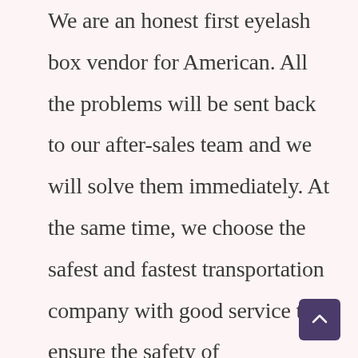We are an honest first eyelash box vendor for American. All the problems will be sent back to our after-sales team and we will solve them immediately. At the same time, we choose the safest and fastest transportation company with good service to ensure the safety of transportation and delivery.